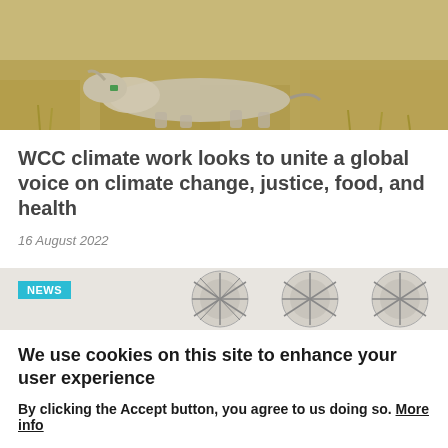[Figure (photo): Dead or resting animal (appears to be a cow/bull) lying on dry brown grassland ground, aerial or close-up view]
WCC climate work looks to unite a global voice on climate change, justice, food, and health
16 August 2022
[Figure (photo): Partial image of decorative circular wheel/medallion patterns, with a NEWS badge overlay in cyan/teal]
We use cookies on this site to enhance your user experience
By clicking the Accept button, you agree to us doing so. More info
ACCEPT    NO, THANKS